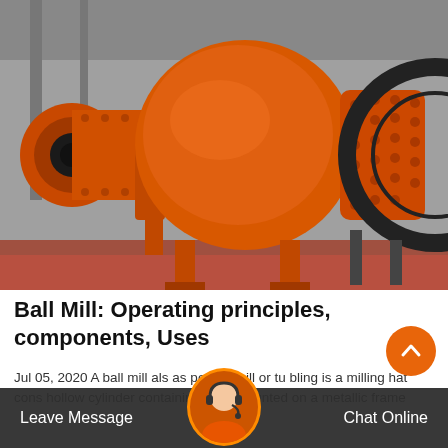[Figure (photo): Large orange ball mill industrial grinding machine in a factory setting, with a spherical drum, cylindrical inlet on the left, long cylindrical drum on the right with bolt studs, large black gear ring on right end, and orange support legs on a red factory floor.]
Ball Mill: Operating principles, components, Uses
Jul 05, 2020 A ball mill also known as pebble mill or tumbling mill is a milling machine that consists of a hollow cylinder containing balls mounted on a metallic frame...
Leave Message   Chat Online